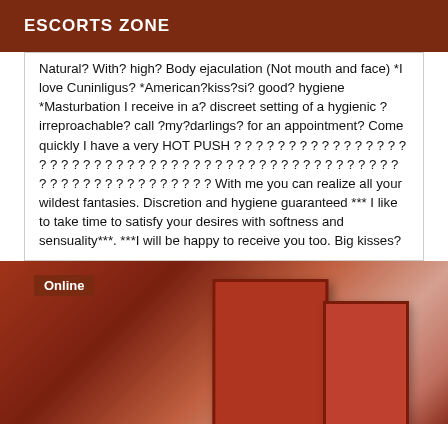ESCORTS ZONE
Natural? With? high? Body ejaculation (Not mouth and face) *I love Cuninligus? *American?kiss?si? good? hygiene *Masturbation I receive in a? discreet setting of a hygienic ?irreproachable? call ?my?darlings? for an appointment? Come quickly I have a very HOT PUSH ? ? ? ? ? ? ? ? ? ? ? ? ? ? ? ? ? ? ? ? ? ? ? ? ? ? ? ? ? ? ? ? ? ? ? ? ? ? ? ? ? ? ? ? ? ? ? ? ? ? ? ? ? ? ? ? ? ? ? ? ? ? ? ? ? With me you can realize all your wildest fantasies. Discretion and hygiene guaranteed *** I like to take time to satisfy your desires with softness and sensuality***. ***I will be happy to receive you too. Big kisses?
[Figure (photo): Photo section with dark reddish-brown background and door shapes visible, with an 'Online' badge in the upper left corner]